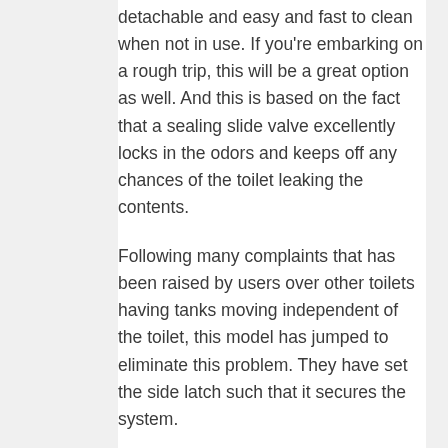detachable and easy and fast to clean when not in use. If you're embarking on a rough trip, this will be a great option as well. And this is based on the fact that a sealing slide valve excellently locks in the odors and keeps off any chances of the toilet leaking the contents.
Following many complaints that has been raised by users over other toilets having tanks moving independent of the toilet, this model has jumped to eliminate this problem. They have set the side latch such that it secures the system.
This ensures everything stays in place